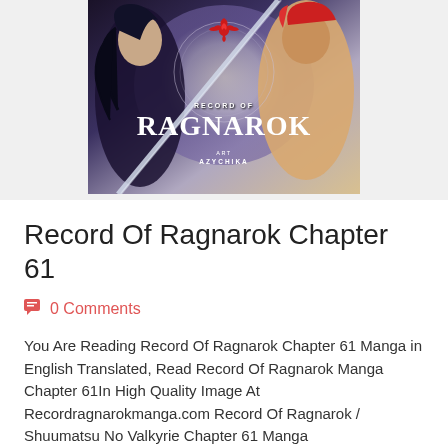[Figure (illustration): Cover art of manga 'Record of Ragnarok' showing two characters and a red dragon logo. Text reads 'RECORD OF RAGNAROK' and 'ART AZYCHIKA'.]
Record Of Ragnarok Chapter 61
0 Comments
You Are Reading Record Of Ragnarok Chapter 61 Manga in English Translated, Read Record Of Ragnarok Manga Chapter 61In High Quality Image At Recordragnarokmanga.com Record Of Ragnarok / Shuumatsu No Valkyrie Chapter 61 Manga